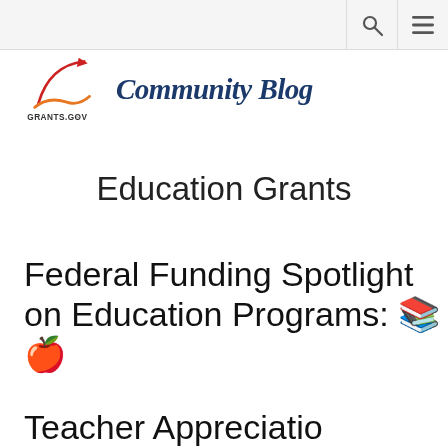[Figure (logo): Grants.gov logo with red swoosh/arrow and orange wave, with text GRANTS.GOV, followed by cursive navy blue Community Blog text]
Education Grants
Federal Funding Spotlight on Education Programs: 📚 🍎 Teacher Appreciation